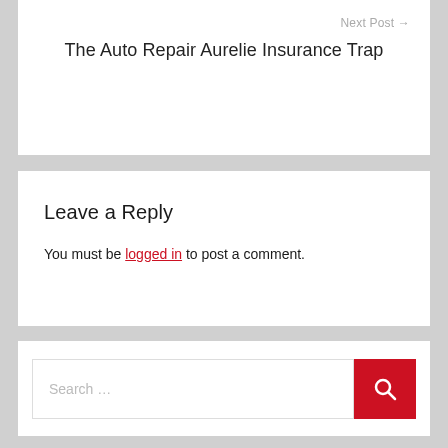Next Post →
The Auto Repair Aurelie Insurance Trap
Leave a Reply
You must be logged in to post a comment.
[Figure (screenshot): Search bar with text 'Search ...' and a red search button with magnifying glass icon]